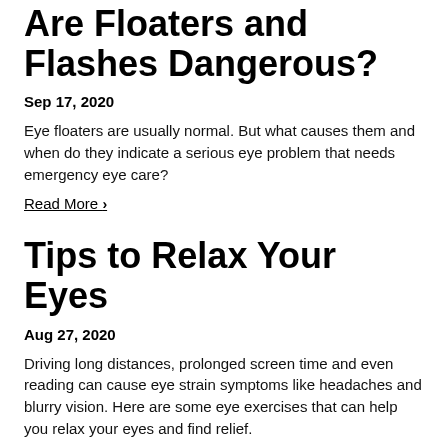Are Floaters and Flashes Dangerous?
Sep 17, 2020
Eye floaters are usually normal. But what causes them and when do they indicate a serious eye problem that needs emergency eye care?
Read More ›
Tips to Relax Your Eyes
Aug 27, 2020
Driving long distances, prolonged screen time and even reading can cause eye strain symptoms like headaches and blurry vision. Here are some eye exercises that can help you relax your eyes and find relief.